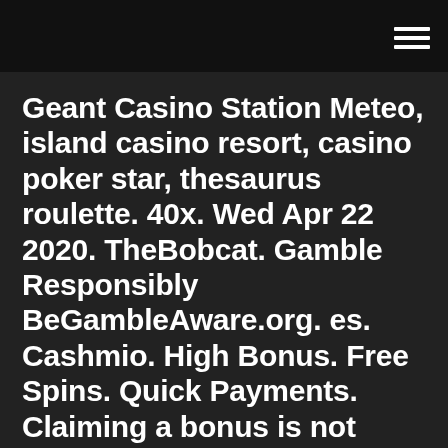Geant Casino Station Meteo, island casino resort, casino poker star, thesaurus roulette. 40x. Wed Apr 22 2020. TheBobcat. Gamble Responsibly BeGambleAware.org. es. Cashmio. High Bonus. Free Spins. Quick Payments. Claiming a bonus is not mandatory. If you don't want to use a bonus you will have to inform the casino's support team beforehand.